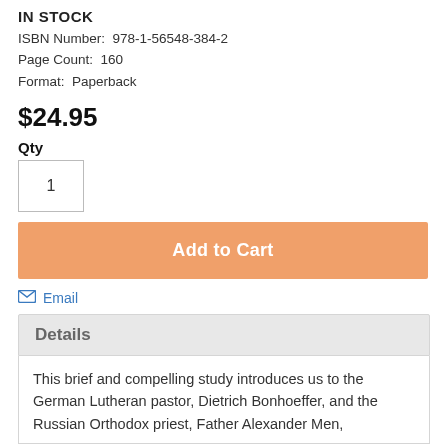IN STOCK
ISBN Number:  978-1-56548-384-2
Page Count:  160
Format:  Paperback
$24.95
Qty
1
Add to Cart
Email
Details
This brief and compelling study introduces us to the German Lutheran pastor, Dietrich Bonhoeffer, and the Russian Orthodox priest, Father Alexander Men,